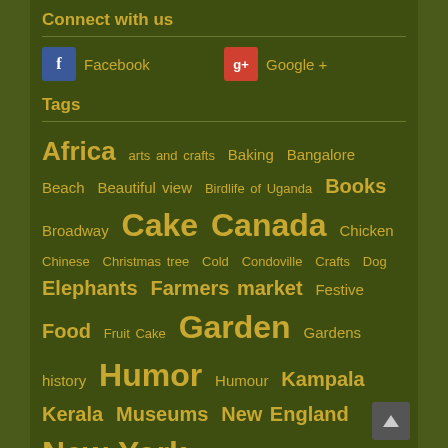Connect with us
Facebook   Google +
Tags
Africa arts and crafts Baking Bangalore Beach Beautiful view Birdlife of Uganda Books Broadway Cake Canada Chicken Chinese Christmas tree Cold Condoville Crafts Dog Elephants Farmers market Festive Food Fruit Cake Garden Gardens history Humor Humour Kampala Kerala Museums New England New York PATH Pawpaw Prohibition Rockefeller Center tree Spring Summer Superstitions Thousand Islands Toronto Trains Travel Uganda